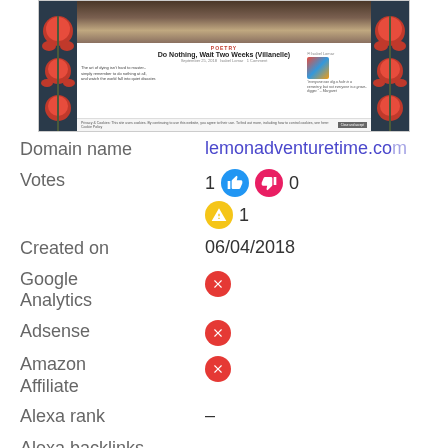[Figure (screenshot): Screenshot of lemonadventuretime.com blog showing a poetry post titled 'Do Nothing, Wait Two Weeks (Villanelle)' with decorative red floral side panels, author avatar, excerpt text, and cookie consent bar]
Domain name   lemonadventuretime.com
Votes   1 👍  👎 0
⚠ 1
Created on   06/04/2018
Google Analytics   ✗
Adsense   ✗
Amazon Affiliate   ✗
Alexa rank   –
Alexa backlinks   –